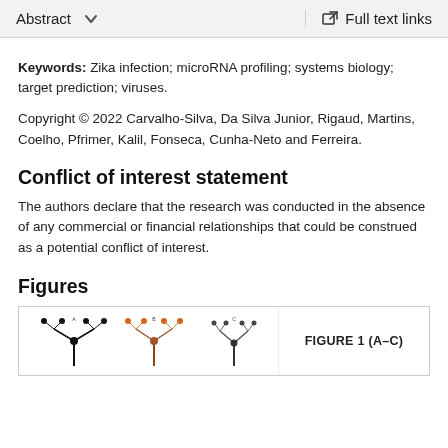Abstract   ∨   Full text links
Keywords: Zika infection; microRNA profiling; systems biology; target prediction; viruses.
Copyright © 2022 Carvalho-Silva, Da Silva Junior, Rigaud, Martins, Coelho, Pfrimer, Kalil, Fonseca, Cunha-Neto and Ferreira.
Conflict of interest statement
The authors declare that the research was conducted in the absence of any commercial or financial relationships that could be construed as a potential conflict of interest.
Figures
[Figure (illustration): Figure 1 (A-C) - scientific diagram showing network/pathway figures with tree-like structures in black and orange/brown colors]